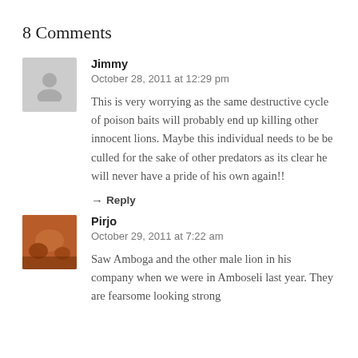8 Comments
Jimmy
October 28, 2011 at 12:29 pm

This is very worrying as the same destructive cycle of poison baits will probably end up killing other innocent lions. Maybe this individual needs to be be culled for the sake of other predators as its clear he will never have a pride of his own again!!

→ Reply
Pirjo
October 29, 2011 at 7:22 am

Saw Amboga and the other male lion in his company when we were in Amboseli last year. They are fearsome looking strong lions but killing is off the charts. 70 To his for the other